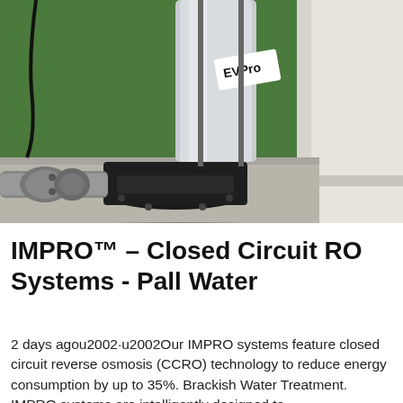[Figure (photo): Close-up photo of an industrial water filtration/pump unit labeled 'EVPro' on a white metal frame stand, with black cast iron pump housing and silver metal cylindrical filter vessel, set against a green background.]
IMPRO™ – Closed Circuit RO Systems - Pall Water
2 days agou2002·u2002Our IMPRO systems feature closed circuit reverse osmosis (CCRO) technology to reduce energy consumption by up to 35%. Brackish Water Treatment. IMPRO systems are intelligently designed to